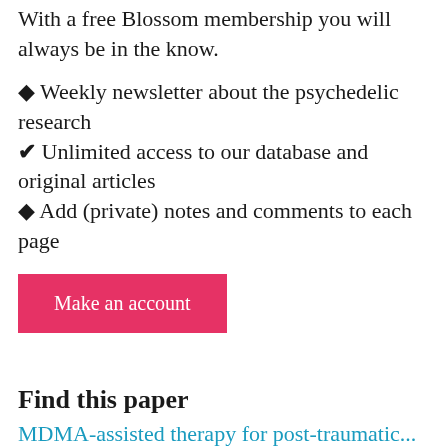With a free Blossom membership you will always be in the know.
✦ Weekly newsletter about the psychedelic research
✔ Unlimited access to our database and original articles
✦ Add (private) notes and comments to each page
Make an account
Find this paper
MDMA-assisted therapy for post-traumatic...